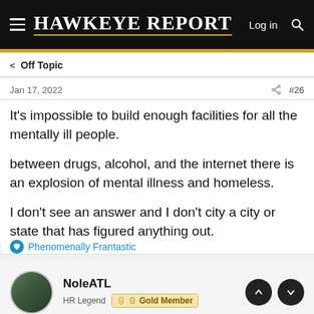Hawkeye Report — Log in
< Off Topic
Jan 17, 2022   #26
It's impossible to build enough facilities for all the mentally ill people.

between drugs, alcohol, and the internet there is an explosion of mental illness and homeless.

I don't see an answer and I don't city a city or state that has figured anything out.
Phenomenally Frantastic
NoleATL
HR Legend  Gold Member